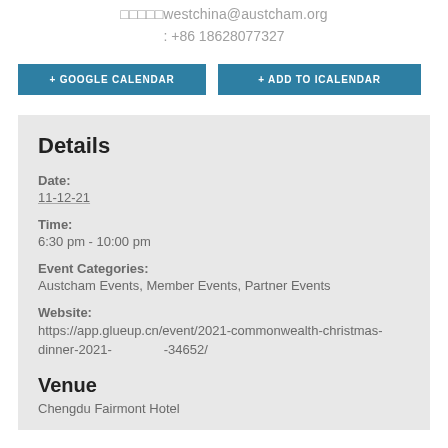□□□□□westchina@austcham.org
: +86 18628077327
+ GOOGLE CALENDAR
+ ADD TO ICALENDAR
Details
Date:
11-12-21
Time:
6:30 pm - 10:00 pm
Event Categories:
Austcham Events, Member Events, Partner Events
Website:
https://app.glueup.cn/event/2021-commonwealth-christmas-dinner-2021-　　　　-34652/
Venue
Chengdu Fairmont Hotel